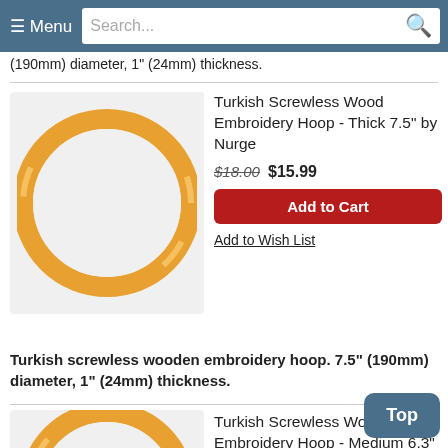Menu | Search...
(190mm) diameter, 1" (24mm) thickness.
[Figure (photo): Turkish screwless wooden embroidery hoop, circular, golden/amber wood color on light gray background]
Turkish Screwless Wood Embroidery Hoop - Thick 7.5" by Nurge
$18.00 $15.99
Add to Cart
Add to Wish List
Turkish screwless wooden embroidery hoop. 7.5" (190mm) diameter, 1" (24mm) thickness.
[Figure (photo): Turkish screwless wooden embroidery hoop, partial view, circular, golden/amber wood color on light gray background]
Turkish Screwless Wood Embroidery Hoop - Medium 6.3" by Nurge
Top